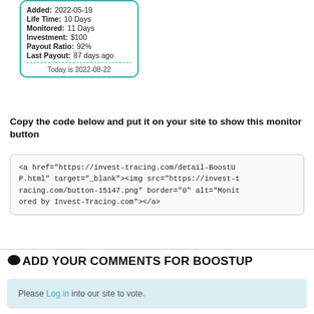[Figure (other): Monitor card widget showing: Added: 2022-05-19, Life Time: 10 Days, Monitored: 11 Days, Investment: $100, Payout Ratio: 92%, Last Payout: 87 days ago, Today is 2022-08-22]
Copy the code below and put it on your site to show this monitor button
<a href="https://invest-tracing.com/detail-BoostUP.html" target="_blank"><img src="https://invest-tracing.com/button-15147.png" border="0" alt="Monitored by Invest-Tracing.com"></a>
ADD YOUR COMMENTS FOR BOOSTUP
Please Log in into our site to vote.